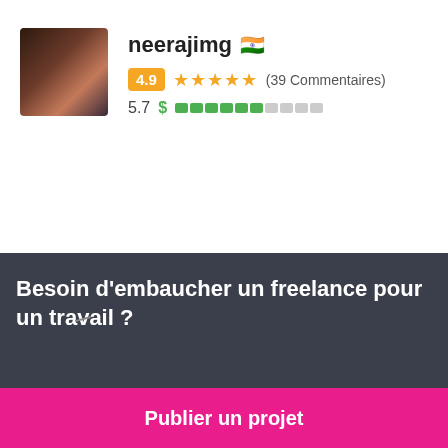[Figure (photo): Profile photo of user neerajimg, man with beard]
neerajimg 🇮🇳
4.9 ★★★★★ (39 Commentaires)
5.7 $ ██████░░░░
[Figure (photo): Profile photo of user cherrystuart83]
cherrystuart83 🇮🇳
%bids___i_sum_sub_35%
%project_currencyDetails_sign_sub_36%
Besoin d'embaucher un freelance pour un travail ?
Publier un projet